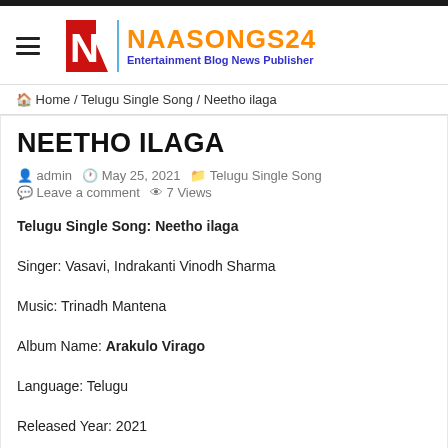NAASONGS24 | Entertainment Blog News Publisher
Home / Telugu Single Song / Neetho ilaga
NEETHO ILAGA
admin  May 25, 2021  Telugu Single Song  Leave a comment  7 Views
Telugu Single Song: Neetho ilaga
Singer: Vasavi, Indrakanti Vinodh Sharma
Music: Trinadh Mantena
Album Name: Arakulo Virago
Language: Telugu
Released Year: 2021
Neetho ilaga HD Song Download | full Mp3 Download Neetho ilaga Naa Songs | Neetho ilaga Naa Songs Free Download